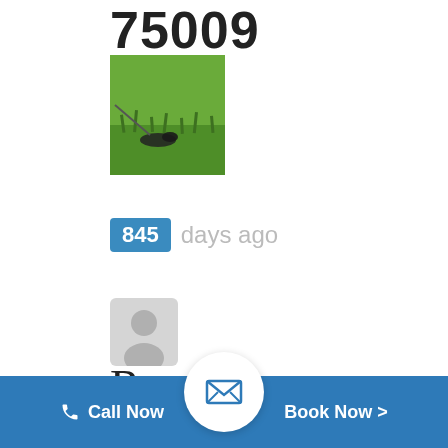75009
[Figure (photo): Thumbnail photo of a grassy area with a dark bird or object on the ground]
845 days ago
[Figure (illustration): Gray default user avatar/profile icon]
Randall
E.
Call Now   [email icon]   Book Now >